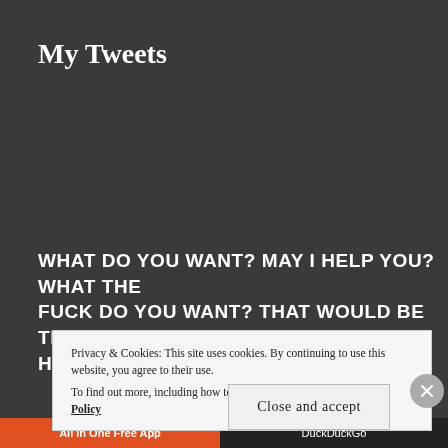My Tweets
WHAT DO YOU WANT? MAY I HELP YOU? WHAT THE FUCK DO YOU WANT? THAT WOULD BE THE LOOK I H...
Privacy & Cookies: This site uses cookies. By continuing to use this website, you agree to their use.
To find out more, including how to control cookies, see here: Cookie Policy
Close and accept